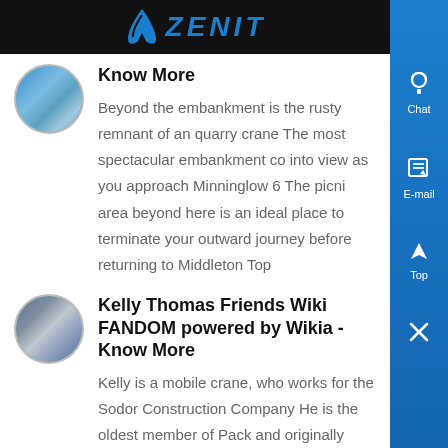ZENIT
Know More
Beyond the embankment is the rusty remnant of an quarry crane The most spectacular embankment co into view as you approach Minninglow 6 The picni area beyond here is an ideal place to terminate your outward journey before returning to Middleton Top
Kelly Thomas Friends Wiki FANDOM powered by Wikia - Know More
Kelly is a mobile crane, who works for the Sodor Construction Company He is the oldest member of Pack and originally belonged to Miss Jenny s fathe Contents...